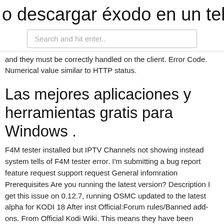o descargar éxodo en un teléfono an
[Figure (screenshot): Search bar with placeholder text 'Search and hit enter..']
and they must be correctly handled on the client. Error Code. Numerical value similar to HTTP status.
Las mejores aplicaciones y herramientas gratis para Windows .
F4M tester installed but IPTV Channels not showing instead system tells of F4M tester error. I'm submitting a bug report feature request support request General infomration Prerequisites Are you running the latest version? Description I get this issue on 0.12.7, running OSMC updated to the latest alpha for KODI 18 After inst Official:Forum rules/Banned add-ons. From Official Kodi Wiki. This means they have been banned from any official Kodi forums, websites, IRC channels and any social media accounts that are under the control of Team Kodi or the XBMC Foundation. POLÍTICA DE LATINO KODI ULTIMATE Latino Kodi Ultimate es un proyecto 100% sin ánimo de lucro dedicado a modificar la interfaz gráfica de